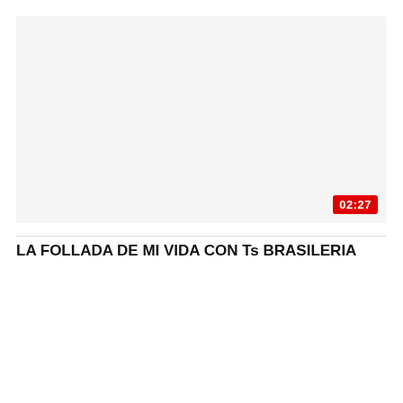[Figure (screenshot): Video thumbnail placeholder area with a red duration badge showing 02:27 in the bottom-right corner]
LA FOLLADA DE MI VIDA CON Ts BRASILERIA